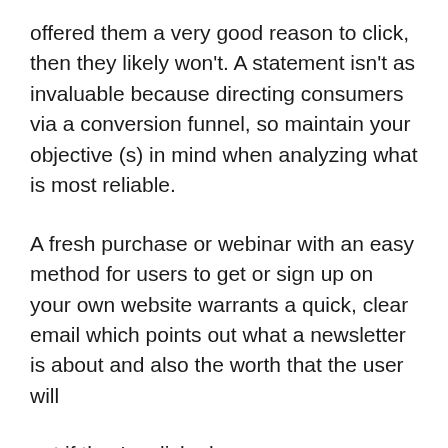offered them a very good reason to click, then they likely won't. A statement isn't as invaluable because directing consumers via a conversion funnel, so maintain your objective (s) in mind when analyzing what is most reliable.
A fresh purchase or webinar with an easy method for users to get or sign up on your own website warrants a quick, clear email which points out what a newsletter is about and also the worth that the user will
get if they're clicked.
4. Help it become easy to click through!